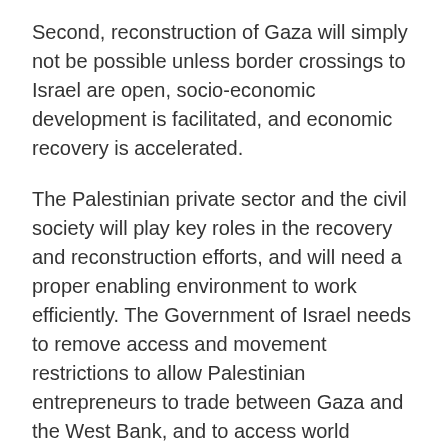Second, reconstruction of Gaza will simply not be possible unless border crossings to Israel are open, socio-economic development is facilitated, and economic recovery is accelerated.
The Palestinian private sector and the civil society will play key roles in the recovery and reconstruction efforts, and will need a proper enabling environment to work efficiently. The Government of Israel needs to remove access and movement restrictions to allow Palestinian entrepreneurs to trade between Gaza and the West Bank, and to access world markets.
The participants took note of the measures recently announced by Israel, including the commitment to ease restrictions on movement and access in and between the West Bank and Gaza, and to facilitate rapid recovery and reconstruction in Gaza led by the Government of Palestine